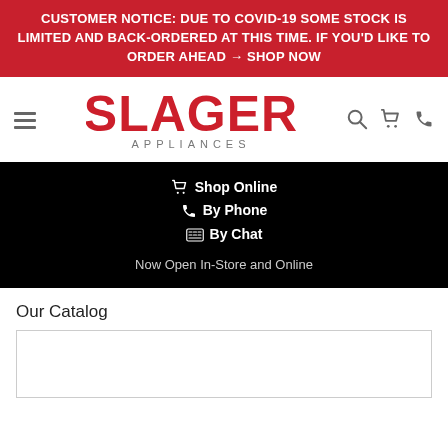CUSTOMER NOTICE: DUE TO COVID-19 SOME STOCK IS LIMITED AND BACK-ORDERED AT THIS TIME. IF YOU'D LIKE TO ORDER AHEAD → SHOP NOW
[Figure (logo): Slager Appliances logo with hamburger menu icon and navigation icons (search, cart, phone)]
🛒 Shop Online
📞 By Phone
⌨ By Chat

Now Open In-Store and Online
Our Catalog